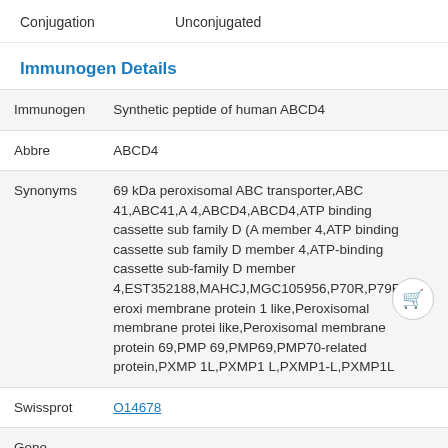| Conjugation | Unconjugated |
Immunogen Details
| Immunogen | Synthetic peptide of human ABCD4 |
| Abbre | ABCD4 |
| Synonyms | 69 kDa peroxisomal ABC transporter,ABC 41,ABC41,A 4,ABCD4,ABCD4,ATP binding cassette sub family D (A member 4,ATP binding cassette sub family D member 4,ATP-binding cassette sub-family D member 4,EST352188,MAHCJ,MGC105956,P70R,P79R,Peroxisomal membrane protein 1 like,Peroxisomal membrane protein like,Peroxisomal membrane protein 69,PMP 69,PMP69,PMP70-related protein,PXMP 1L,PXMP1 L,PXMP1-L,PXMP1L |
| Swissprot | O14678 |
| Gene |  |